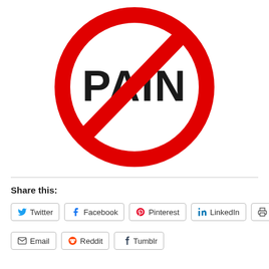[Figure (illustration): A red prohibition/no symbol (circle with diagonal slash) over the word PAIN in large bold black text on white background]
Share this:
Twitter | Facebook | Pinterest | LinkedIn | Print | Email | Reddit | Tumblr